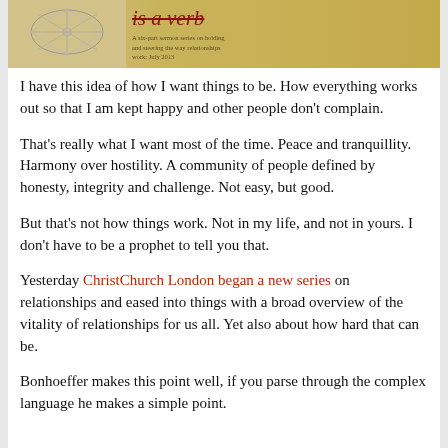[Figure (illustration): Header banner image showing a sketch/line-drawing on a tan/gold background on the left side, and text 'is a verb' in italic red serif font with strikethrough on the right gold section, with small subtitle text about a sermon series on relationships at ChristChurch London 2013.]
I have this idea of how I want things to be. How everything works out so that I am kept happy and other people don't complain.
That's really what I want most of the time. Peace and tranquillity. Harmony over hostility. A community of people defined by honesty, integrity and challenge. Not easy, but good.
But that's not how things work. Not in my life, and not in yours. I don't have to be a prophet to tell you that.
Yesterday ChristChurch London began a new series on relationships and eased into things with a broad overview of the vitality of relationships for us all. Yet also about how hard that can be.
Bonhoeffer makes this point well, if you parse through the complex language he makes a simple point.